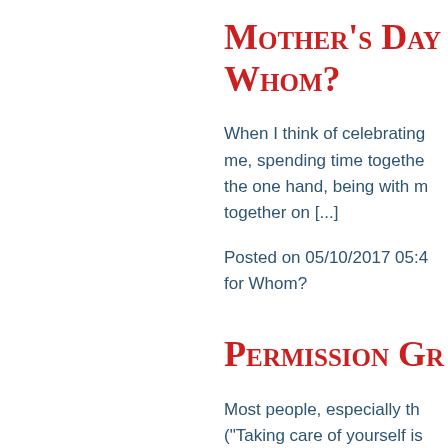Mother's Day … Whom?
When I think of celebrating… me, spending time together… the one hand, being with m… together on [...]
Posted on 05/10/2017 05:4… for Whom?
Permission Gr…
Most people, especially th… ("Taking care of yourself is… yourself") so they can att…